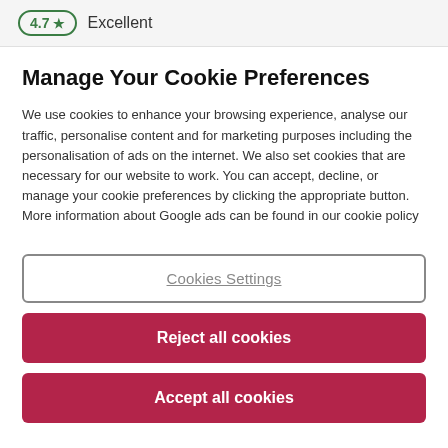4.7 ★  Excellent
Manage Your Cookie Preferences
We use cookies to enhance your browsing experience, analyse our traffic, personalise content and for marketing purposes including the personalisation of ads on the internet. We also set cookies that are necessary for our website to work. You can accept, decline, or manage your cookie preferences by clicking the appropriate button. More information about Google ads can be found in our cookie policy
Cookies Settings
Reject all cookies
Accept all cookies